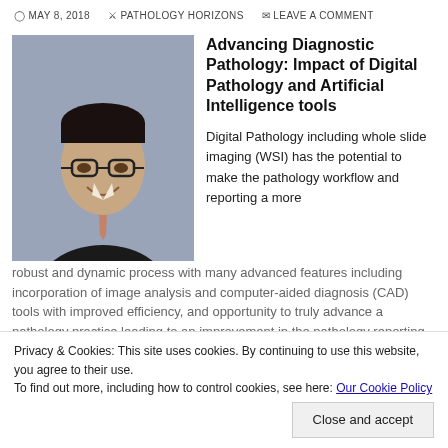MAY 8, 2018  PATHOLOGY HORIZONS  LEAVE A COMMENT
[Figure (photo): Headshot of a male medical professional in a dark suit and tie, smiling, against a grey background.]
Advancing Diagnostic Pathology: Impact of Digital Pathology and Artificial Intelligence tools
Digital Pathology including whole slide imaging (WSI) has the potential to make the pathology workflow and reporting a more
robust and dynamic process with many advanced features including incorporation of image analysis and computer-aided diagnosis (CAD) tools with improved efficiency, and opportunity to truly advance a pathology practice leading to an improvement in the pathology reporting process as well as improving patient care.
Privacy & Cookies: This site uses cookies. By continuing to use this website, you agree to their use.
To find out more, including how to control cookies, see here: Our Cookie Policy
Close and accept